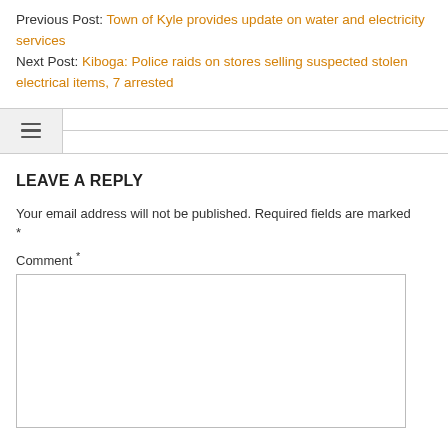Previous Post: Town of Kyle provides update on water and electricity services
Next Post: Kiboga: Police raids on stores selling suspected stolen electrical items, 7 arrested
LEAVE A REPLY
Your email address will not be published. Required fields are marked *
Comment *